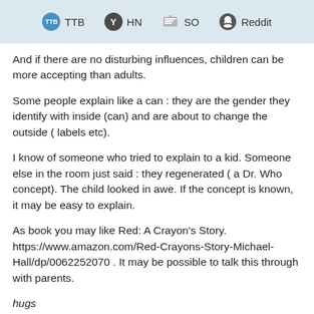TTB  HN  SO  Reddit
And if there are no disturbing influences, children can be more accepting than adults.
Some people explain like a can : they are the gender they identify with inside (can) and are about to change the outside ( labels etc).
I know of someone who tried to explain to a kid. Someone else in the room just said : they regenerated ( a Dr. Who concept). The child looked in awe. If the concept is known, it may be easy to explain.
As book you may like Red: A Crayon's Story. https://www.amazon.com/Red-Crayons-Story-Michael-Hall/dp/0062252070 . It may be possible to talk this through with parents.
hugs